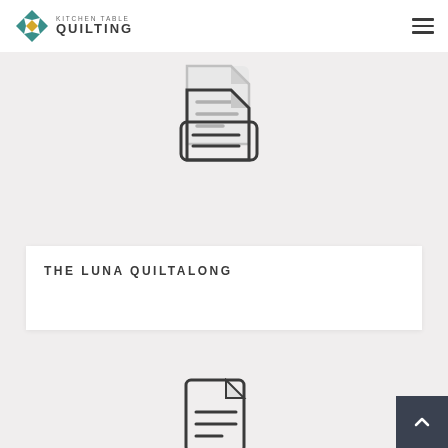Kitchen Table Quilting
[Figure (illustration): Document/file icon with lines, light gray style]
THE LUNA QUILTALONG
[Figure (illustration): Document/file icon with lines, darker style, partially visible at bottom]